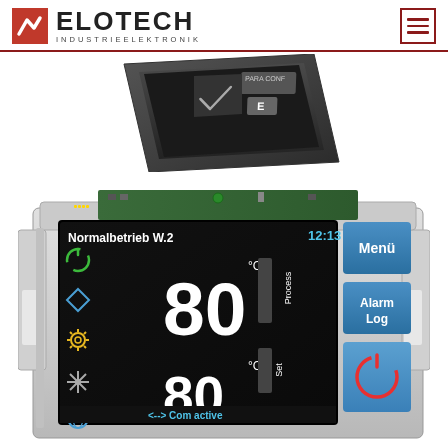[Figure (logo): Elotech Industrieelektronik logo with red angular checkmark icon]
[Figure (photo): Small dark industrial controller device with keypad showing PARA CONF and E buttons, tilted/angled view]
[Figure (photo): Elotech industrial temperature controller with color LCD display showing: Normalbetrieb W.2, time 12:13, process value 80°C, set value 80°C, green power icon, blue icons for modes, menu buttons (Menü, Alarm Log, power), Com active status, mounted in silver panel housing with circuit board visible]